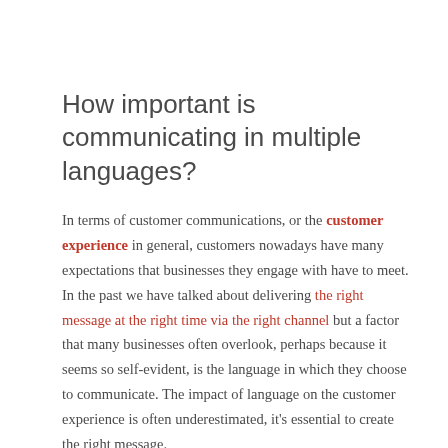How important is communicating in multiple languages?
In terms of customer communications, or the customer experience in general, customers nowadays have many expectations that businesses they engage with have to meet. In the past we have talked about delivering the right message at the right time via the right channel but a factor that many businesses often overlook, perhaps because it seems so self-evident, is the language in which they choose to communicate. The impact of language on the customer experience is often underestimated, it's essential to create the right message.